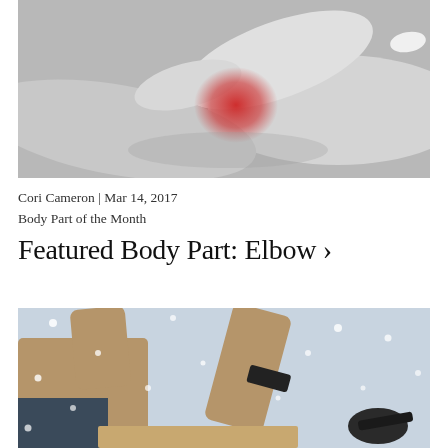[Figure (photo): Black and white photo of hands with a red highlighted area on the wrist/elbow joint being touched, indicating pain or inflammation.]
Cori Cameron | Mar 14, 2017
Body Part of the Month
Featured Body Part: Elbow ›
[Figure (photo): Person in winter/snowy setting wearing a tan jacket, arms raised, with snowflakes visible in the background.]